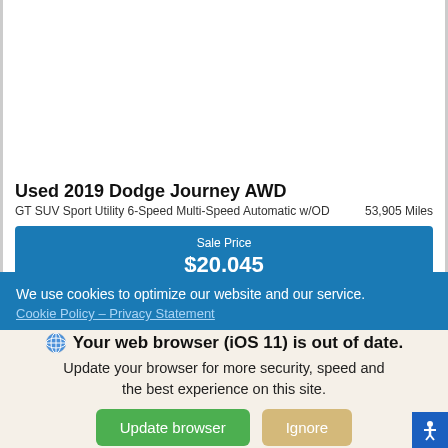[Figure (photo): Car image area (blurred/white background) for Used 2019 Dodge Journey AWD]
Used 2019 Dodge Journey AWD
GT SUV Sport Utility 6-Speed Multi-Speed Automatic w/OD     53,905 Miles
Sale Price $20,045
We use cookies to optimize our website and our service.
Cookie Policy – Privacy Statement
Your web browser (iOS 11) is out of date. Update your browser for more security, speed and the best experience on this site.
Update browser
Ignore